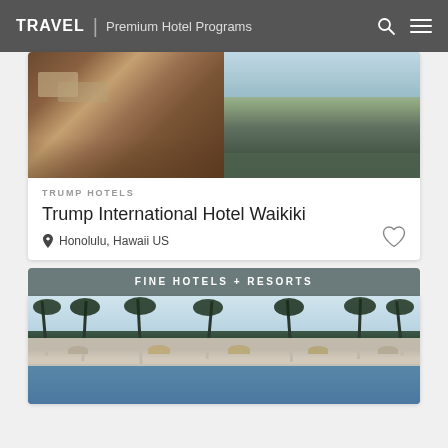TRAVEL | Premium Hotel Programs
[Figure (photo): Hotel interior lobby and outdoor terrace with seating area at Trump International Hotel Waikiki]
TRUMP HOTELS
Trump International Hotel Waikiki
Honolulu, Hawaii US
FINE HOTELS + RESORTS
[Figure (photo): Luxury hotel pool area with palm trees and beach chairs at a fine resort in Hawaii]